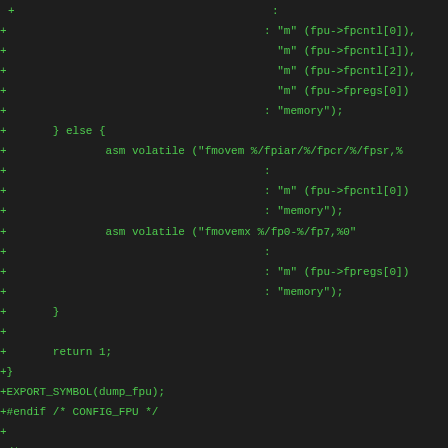Code diff showing assembly volatile instructions and C code for FPU dump functionality, including fmovem, fmovemx instructions, else block, return 1, EXPORT_SYMBOL, #endif CONFIG_FPU, and sys_execve() comment.